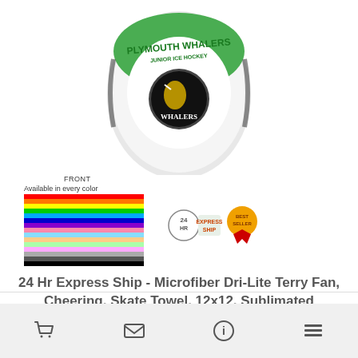[Figure (photo): Plymouth Whalers Junior Ice Hockey sublimated skate towel, showing front side with team logo on white fabric with green and dark accents. Below shows color swatches labeled 'Available in every color'. To the right: 24 HR Express Ship badge and Best Seller ribbon badge.]
24 Hr Express Ship - Microfiber Dri-Lite Terry Fan, Cheering, Skate Towel, 12x12, Sublimated
# SU206-19
1 day production time
$3.32 | Min. Qty: 12